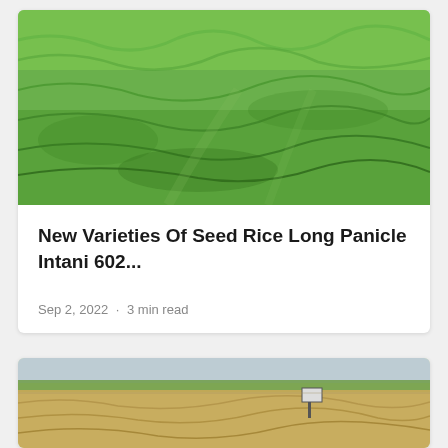[Figure (photo): Aerial view of a lush green rice paddy field with dense green grass/rice plants]
New Varieties Of Seed Rice Long Panicle Intani 602...
Sep 2, 2022 · 3 min read
[Figure (photo): Field with harvested or dry rice crop, a sign post visible, green strip in background]